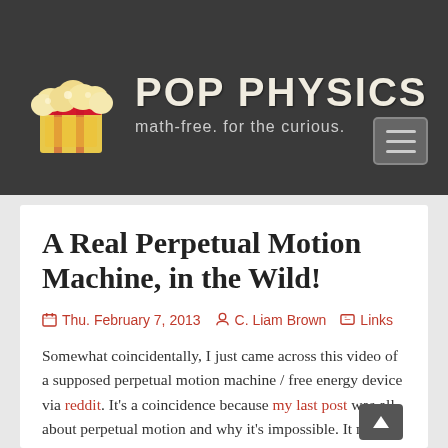POP PHYSICS — math-free. for the curious.
A Real Perpetual Motion Machine, in the Wild!
Thu. February 7, 2013   C. Liam Brown   Links
Somewhat coincidentally, I just came across this video of a supposed perpetual motion machine / free energy device via reddit. It's a coincidence because my last post was all about perpetual motion and why it's impossible. It may seem like a bit of an archaic problem to tackle,